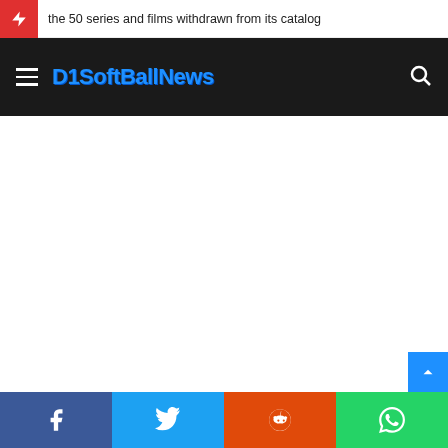the 50 series and films withdrawn from its catalog
[Figure (logo): D1SoftBallNews website logo and navigation bar with hamburger menu and search icon on dark background]
[Figure (other): Social share buttons bar at the bottom: Facebook, Twitter, Reddit, WhatsApp]